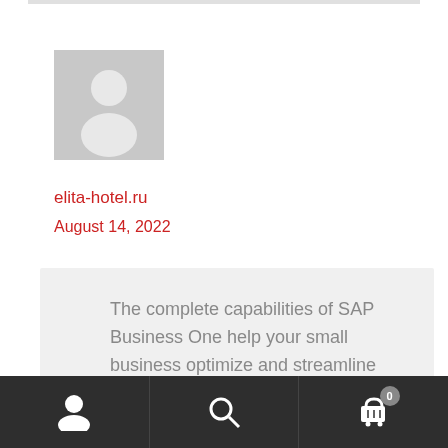[Figure (illustration): Gray placeholder avatar icon showing a silhouette of a person against a gray background square]
elita-hotel.ru
August 14, 2022
The complete capabilities of SAP Business One help your small business optimize and streamline the entire gross sales process.
Navigation bar with user icon, search icon, and cart icon with badge 0